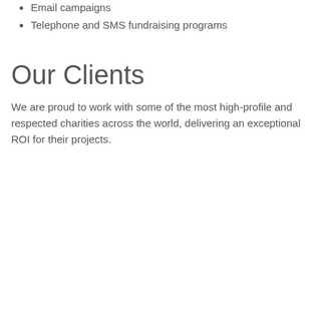Email campaigns
Telephone and SMS fundraising programs
Our Clients
We are proud to work with some of the most high-profile and respected charities across the world, delivering an exceptional ROI for their projects.